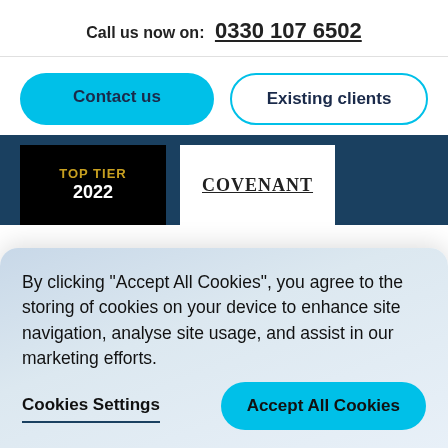Call us now on:  0330 107 6502
Contact us
Existing clients
[Figure (other): TOP TIER 2022 badge (black background, gold text) and COVENANT badge (white background, underlined bold text) on dark blue background]
By clicking "Accept All Cookies", you agree to the storing of cookies on your device to enhance site navigation, analyse site usage, and assist in our marketing efforts.
Cookies Settings
Accept All Cookies